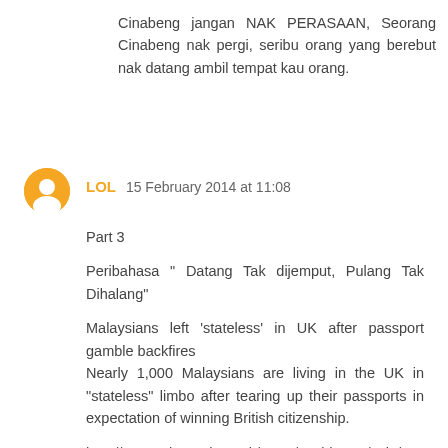Cinabeng jangan NAK PERASAAN, Seorang Cinabeng nak pergi, seribu orang yang berebut nak datang ambil tempat kau orang.
LOL  15 February 2014 at 11:08
Part 3
Peribahasa " Datang Tak dijemput, Pulang Tak Dihalang"
Malaysians left 'stateless' in UK after passport gamble backfires
Nearly 1,000 Malaysians are living in the UK in "stateless" limbo after tearing up their passports in expectation of winning British citizenship.
http://www.telegraph.co.uk/news/worldnews/asia/malaysia/6316612/Malaysians-left-stateless-in-UK-after-passport-gamble-backfires.html